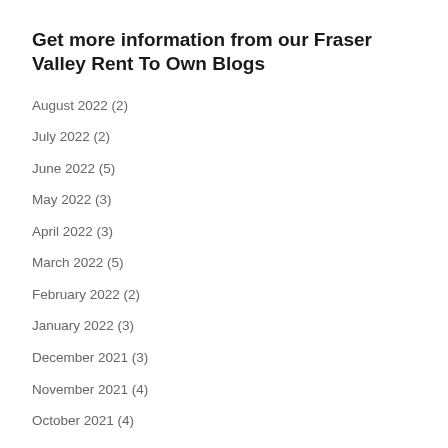Get more information from our Fraser Valley Rent To Own Blogs
August 2022 (2)
July 2022 (2)
June 2022 (5)
May 2022 (3)
April 2022 (3)
March 2022 (5)
February 2022 (2)
January 2022 (3)
December 2021 (3)
November 2021 (4)
October 2021 (4)
September 2021 (3)
August 2021 (2)